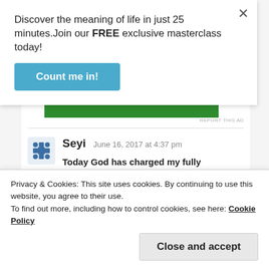Discover the meaning of life in just 25 minutes.Join our FREE exclusive masterclass today!
Count me in!
REPORT THIS AD
Seyi  June 16, 2017 at 4:37 pm
Today God has charged my fully
Privacy & Cookies: This site uses cookies. By continuing to use this website, you agree to their use.
To find out more, including how to control cookies, see here: Cookie Policy
Close and accept